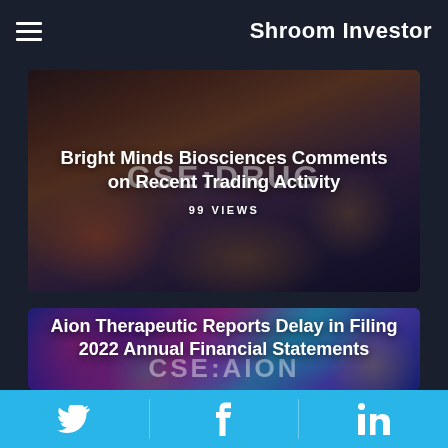Shroom Investor
[Figure (photo): Article card with blurry background image showing CSE:DRUG text and orange/dark tones. Title overlay reads 'Bright Minds Biosciences Comments on Recent Trading Activity' with 99 VIEWS count.]
Bright Minds Biosciences Comments on Recent Trading Activity
99 VIEWS
[Figure (photo): Article card with colorful blurry psychedelic background in blue, pink, purple tones. CSE:AION watermark visible. Title overlay reads 'Aion Therapeutic Reports Delay in Filing 2022 Annual Financial Statements'.]
Aion Therapeutic Reports Delay in Filing 2022 Annual Financial Statements
Twitter | Facebook | LinkedIn